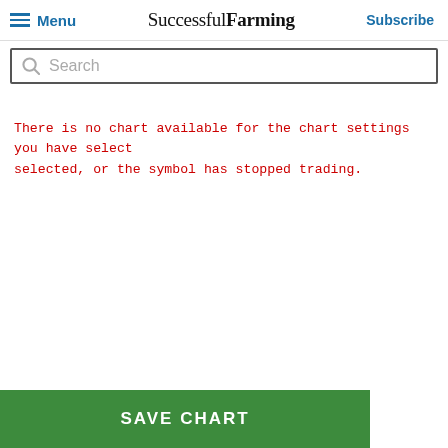Menu | Successful Farming | Subscribe
Search
There is no chart available for the chart settings you have select selected, or the symbol has stopped trading.
SAVE CHART